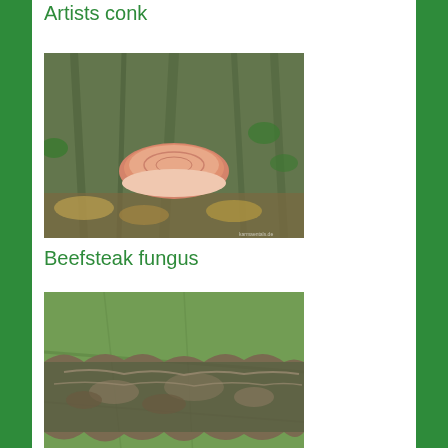Artists conk
[Figure (photo): Photo of beefsteak fungus (Fistulina hepatica), a pink-red bracket fungus growing on a tree trunk with ivy and fallen leaves in background.]
Beefsteak fungus
[Figure (photo): Close-up photo of bleeding broadleaf crust fungus growing on underside of a large green leaf, showing brown irregular crust-like patches with wavy edges.]
Bleeding broadleaf crust